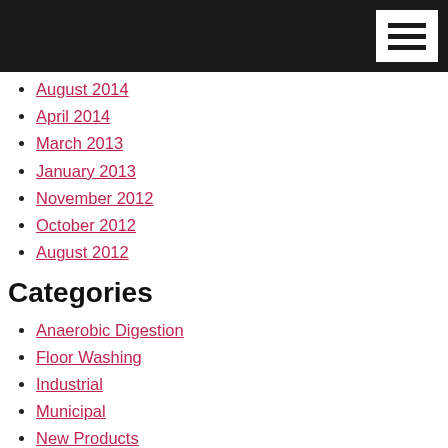August 2014
April 2014
March 2013
January 2013
November 2012
October 2012
August 2012
Categories
Anaerobic Digestion
Floor Washing
Industrial
Municipal
New Products
News
Solids Pumping
Tank Mixing
Waste Recycling